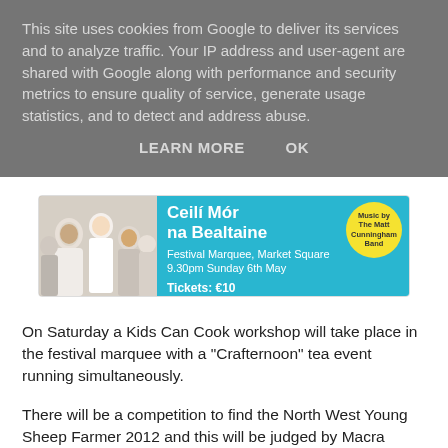This site uses cookies from Google to deliver its services and to analyze traffic. Your IP address and user-agent are shared with Google along with performance and security metrics to ensure quality of service, generate usage statistics, and to detect and address abuse.
LEARN MORE   OK
[Figure (infographic): Advertisement for Ceilí Mór na Bealtaine event. Festival Marquee, Market Square, 9.30pm Sunday 6th May. Tickets: €10. Music by The Matt Cunningham Band. Shows a crowd of people on the left side and cyan/blue background with event details on the right.]
On Saturday a Kids Can Cook workshop will take place in the festival marquee with a "Crafternoon" tea event running simultaneously.
There will be a competition to find the North West Young Sheep Farmer 2012 and this will be judged by Macra